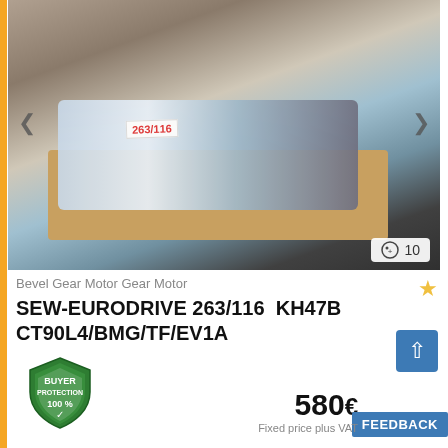[Figure (photo): A SEW-EURODRIVE bevel gear motor wrapped in plastic film, sitting on a wooden pallet/crate. A white label with red text '263/116' is visible on the package. Navigation arrows are shown on the sides of the photo.]
Bevel Gear Motor Gear Motor
SEW-EURODRIVE 263/116  KH47B CT90L4/BMG/TF/EV1A
[Figure (logo): Buyer Protection 100% shield badge in green and white]
580€
Fixed price plus VAT
FEEDBACK